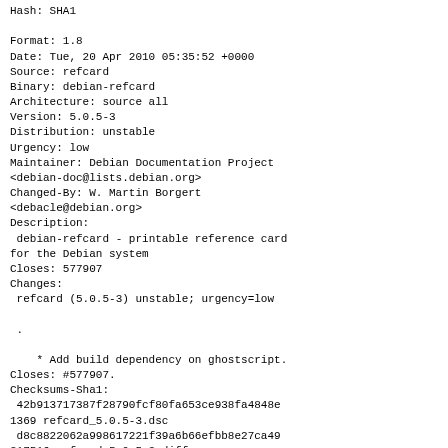Hash: SHA1

Format: 1.8
Date: Tue, 20 Apr 2010 05:35:52 +0000
Source: refcard
Binary: debian-refcard
Architecture: source all
Version: 5.0.5-3
Distribution: unstable
Urgency: low
Maintainer: Debian Documentation Project
<debian-doc@lists.debian.org>
Changed-By: W. Martin Borgert
<debacle@debian.org>
Description:
 debian-refcard - printable reference card
for the Debian system
Closes: 577907
Changes:
 refcard (5.0.5-3) unstable; urgency=low

 .

    * Add build dependency on ghostscript.
Closes: #577907.
Checksums-Sha1:
 42b913717387f28790fcf80fa653ce938fa4848e
1369 refcard_5.0.5-3.dsc
 d8c8822062a998617221f39a6b66efbb8e27ca49
317516 refcard_5.0.5-3.diff.gz
 42c08430149e0df3697cfc928c3e00b289c5ce36
3613120 debian-refcard_5.0.5-3_all.deb
Checksums-Sha256: